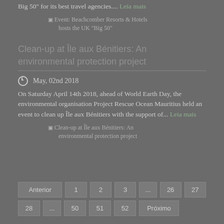Big 50" for its best travel agencies.... Leia mais
[Figure (photo): Broken image placeholder: Event: Beachcomber Resorts & Hotels hosts the UK "Big 50"]
Clean-up at Île aux Bénitiers: An environmental protection project
May, 02nd 2018
On Saturday April 14th 2018, ahead of World Earth Day, the environmental organisation Project Rescue Ocean Mauritius held an event to clean up Île aux Bénitiers with the support of... Leia mais
[Figure (photo): Broken image placeholder: Clean-up at Île aux Bénitiers: An environmental protection project]
Pagination: Anterior 1 2 3 ... 26 27 28 ... 50 51 52 Próximo